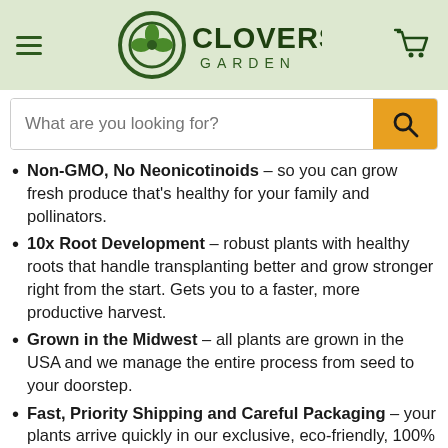Clovers Garden
Non-GMO, No Neonicotinoids – so you can grow fresh produce that's healthy for your family and pollinators.
10x Root Development – robust plants with healthy roots that handle transplanting better and grow stronger right from the start. Gets you to a faster, more productive harvest.
Grown in the Midwest – all plants are grown in the USA and we manage the entire process from seed to your doorstep.
Fast, Priority Shipping and Careful Packaging – your plants arrive quickly in our exclusive, eco-friendly, 100% recyclable box designed to protect your plants and the planet.
Plant in any US Zone – works in containers; small spaces, balconies, patios or large gardens. Treat as a tender annual in Zones 9 and colder.
Season long harvest – this indeterminate variety produces